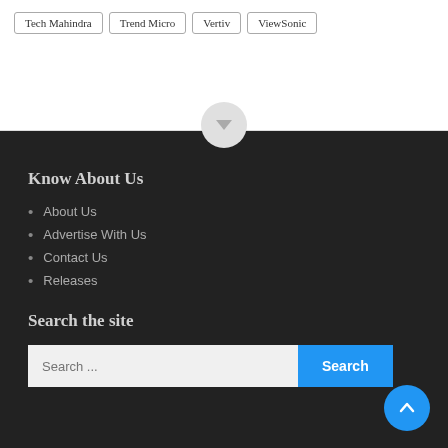Tech Mahindra
Trend Micro
Vertiv
ViewSonic
Know About Us
About Us
Advertise With Us
Contact Us
Releases
Search the site
Search ...
Search